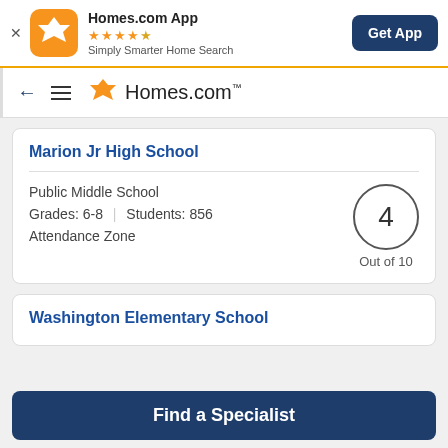Homes.com App — ★★★★½ — Simply Smarter Home Search — Get App
← ≡ Homes.com
Marion Jr High School
Public Middle School
Grades: 6-8 | Students: 856
Attendance Zone
4 Out of 10
Washington Elementary School
Find a Specialist